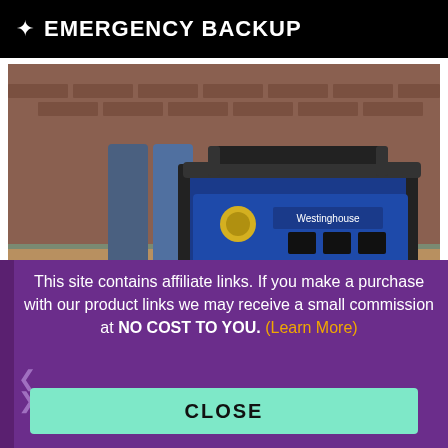EMERGENCY BACKUP
[Figure (photo): Person rolling a Westinghouse WGen9500 portable generator on a wooden deck outside a brick building]
This site contains affiliate links. If you make a purchase with our product links we may receive a small commission at NO COST TO YOU. (Learn More)
CLOSE